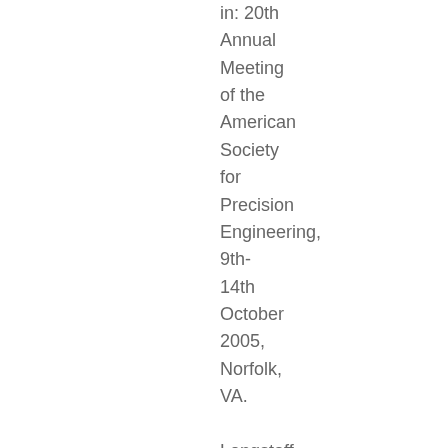in: 20th Annual Meeting of the American Society for Precision Engineering, 9th-14th October 2005, Norfolk, VA.

Longstaff, Andrew P., Fletcher, Simon and